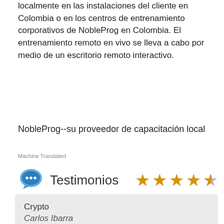localmente en las instalaciones del cliente en Colombia o en los centros de entrenamiento corporativos de NobleProg en Colombia. El entrenamiento remoto en vivo se lleva a cabo por medio de un escritorio remoto interactivo.
NobleProg--su proveedor de capacitación local
Machine Translated
Testimonios
Crypto
Carlos Ibarra
Curso: Avanzado Java, JEE y Seguridad de Aplicaciones Web
Me gustó la forma de impartir clases y ejercicios